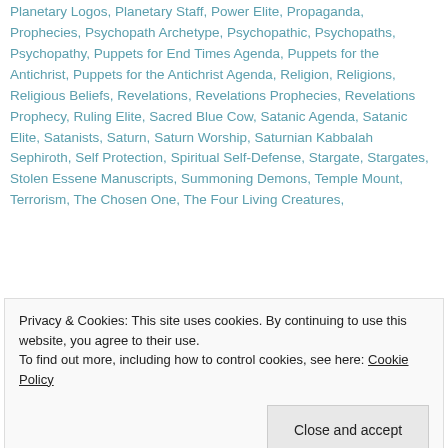Planetary Logos, Planetary Staff, Power Elite, Propaganda, Prophecies, Psychopath Archetype, Psychopathic, Psychopaths, Psychopathy, Puppets for End Times Agenda, Puppets for the Antichrist, Puppets for the Antichrist Agenda, Religion, Religions, Religious Beliefs, Revelations, Revelations Prophecies, Revelations Prophecy, Ruling Elite, Sacred Blue Cow, Satanic Agenda, Satanic Elite, Satanists, Saturn, Saturn Worship, Saturnian Kabbalah Sephiroth, Self Protection, Spiritual Self-Defense, Stargate, Stargates, Stolen Essene Manuscripts, Summoning Demons, Temple Mount, Terrorism, The Chosen One, The Four Living Creatures,
Privacy & Cookies: This site uses cookies. By continuing to use this website, you agree to their use. To find out more, including how to control cookies, see here: Cookie Policy
System 2 Comments